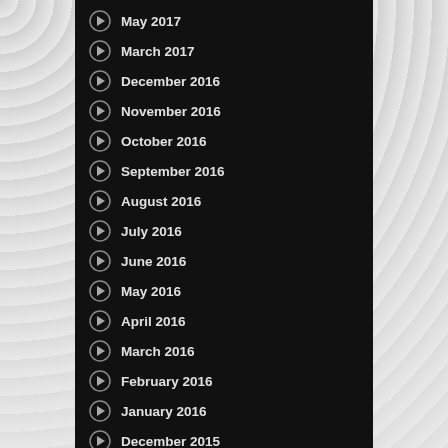May 2017
March 2017
December 2016
November 2016
October 2016
September 2016
August 2016
July 2016
June 2016
May 2016
April 2016
March 2016
February 2016
January 2016
December 2015
November 2015